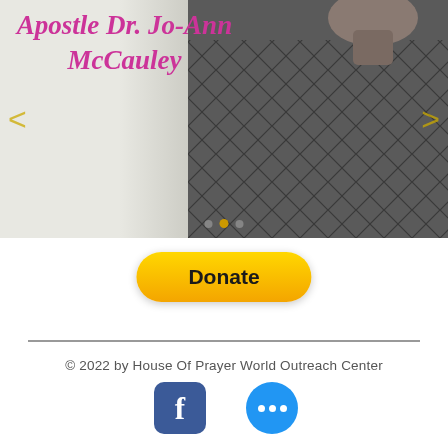[Figure (photo): Carousel slider showing Apostle Dr. Jo-Ann McCauley. Left side has light grey/beige background with cursive pink/magenta text title. Right side shows a person wearing a dark quilted/diamond-patterned jacket. Navigation arrows on sides, dot indicators at bottom.]
Apostle Dr. Jo-Ann McCauley
[Figure (other): Yellow/gold PayPal Donate button with rounded corners and bold text 'Donate']
[Figure (logo): Facebook logo icon — dark blue rounded square with white 'f']
[Figure (other): Blue circular button with three white dots (more options)]
© 2022 by House Of Prayer World Outreach Center